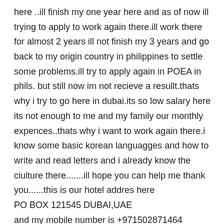here ..ill finish my one year here and as of now ill trying to apply to work again there.ill work there for almost 2 years ill not finish my 3 years and go back to my origin country in philippines to settle some problems.ill try to apply again in POEA in phils. but still now im not recieve a resullt.thats why i try to go here in dubai.its so low salary here its not enough to me and my family our monthly expences..thats why i want to work again there.i know some basic korean languagges and how to write and read letters and i already know the ciulture there.......ill hope you can help me thank you......this is our hotel addres here
PO BOX 121545 DUBAI,UAE
and my mobile number is +971502871464